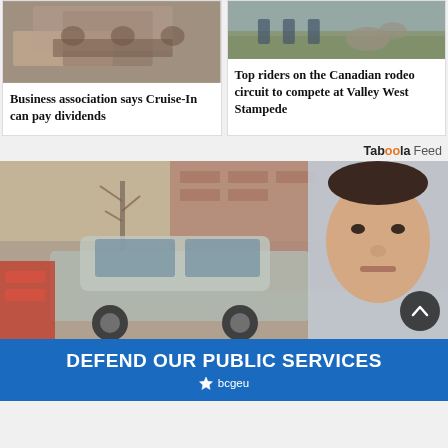[Figure (photo): People sitting around a table in a meeting room]
Business association says Cruise-In can pay dividends
[Figure (photo): People standing outdoors with a sheep or livestock animal, rodeo-related]
Top riders on the Canadian rodeo circuit to compete at Valley West Stampede
Taboola Feed
[Figure (photo): A news article thumbnail showing a vehicle at a scene and a mugshot of a man]
[Figure (advertisement): DEFEND OUR PUBLIC SERVICES — bcgeu advertisement banner]